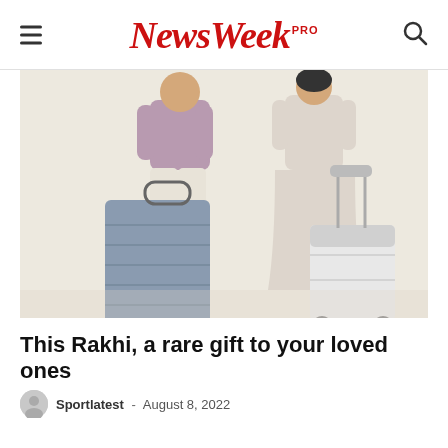NewsWeek PRO
[Figure (photo): Two people standing with luggage/suitcases — a man with a large dark blue suitcase on the left and a woman with a smaller white suitcase on the right, viewed from behind, against a beige background.]
This Rakhi, a rare gift to your loved ones
Sportlatest - August 8, 2022